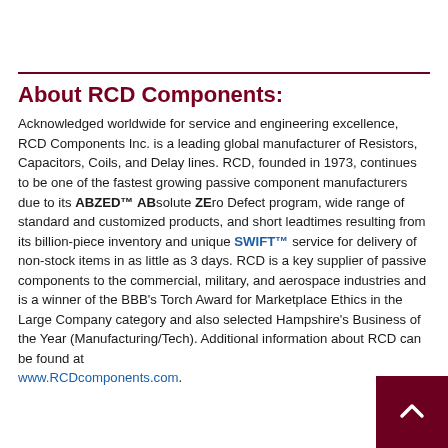About RCD Components:
Acknowledged worldwide for service and engineering excellence, RCD Components Inc. is a leading global manufacturer of Resistors, Capacitors, Coils, and Delay lines. RCD, founded in 1973, continues to be one of the fastest growing passive component manufacturers due to its ABZED™ ABsolute ZEro Defect program, wide range of standard and customized products, and short leadtimes resulting from its billion-piece inventory and unique SWIFT™ service for delivery of non-stock items in as little as 3 days. RCD is a key supplier of passive components to the commercial, military, and aerospace industries and is a winner of the BBB's Torch Award for Marketplace Ethics in the Large Company category and also selected Hampshire's Business of the Year (Manufacturing/Tech). Additional information about RCD can be found at www.RCDcomponents.com.